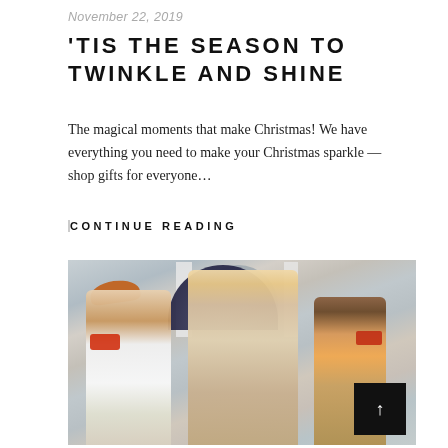November 22, 2019
'TIS THE SEASON TO TWINKLE AND SHINE
The magical moments that make Christmas! We have everything you need to make your Christmas sparkle — shop gifts for everyone…
CONTINUE READING
[Figure (photo): Group of children and a woman laughing outside a building with columns and an arched doorway; a child in a cowboy hat holds an umbrella, another child on the right wears a sparkly outfit.]